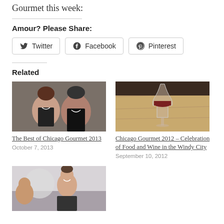Gourmet this week:
Amour? Please Share:
[Figure (other): Share buttons for Twitter, Facebook, and Pinterest]
Related
[Figure (photo): Two people smiling - man and woman - related to The Best of Chicago Gourmet 2013]
The Best of Chicago Gourmet 2013
October 7, 2013
[Figure (photo): Wine glass on wooden bar top - related to Chicago Gourmet 2012]
Chicago Gourmet 2012 – Celebration of Food and Wine in the Windy City
September 10, 2012
[Figure (photo): Woman smiling at event, partially visible third related article image]